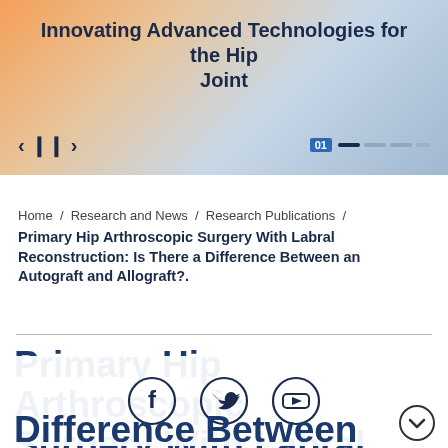[Figure (photo): Medical/healthcare banner image showing hip joint area with orange and blue tones, with slide navigation controls and title overlay]
Innovating Advanced Technologies for the Hip Joint
Home / Research and News / Research Publications /
Primary Hip Arthroscopic Surgery With Labral Reconstruction: Is There a Difference Between an Autograft and Allograft?.
Primary Hip Arthroscopic Surgery With Labral Difference Between an
[Figure (infographic): Social media share buttons: Facebook, Twitter, YouTube icons in circular outlines, and a scroll-down chevron button]